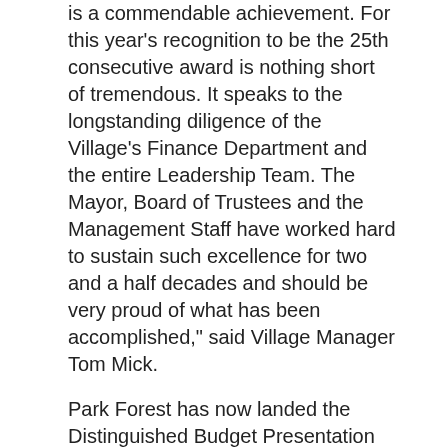is a commendable achievement. For this year's recognition to be the 25th consecutive award is nothing short of tremendous. It speaks to the longstanding diligence of the Village's Finance Department and the entire Leadership Team. The Mayor, Board of Trustees and the Management Staff have worked hard to sustain such excellence for two and a half decades and should be very proud of what has been accomplished," said Village Manager Tom Mick.
Park Forest has now landed the Distinguished Budget Presentation Award 27 times, including 25 years straight, since the award was created 36 years ago. Only 15 municipalities in Illinois have won the award more times than Park Forest.
In order to receive the budget award, Park Forest needed to satisfy nationally recognized guidelines for effective budget presentation. These guidelines are designed to assess how well an organization's budget serves as a policy document, a financial plan, an operations guide, and a communications device.
Budget documents must be rated "proficient" in all four